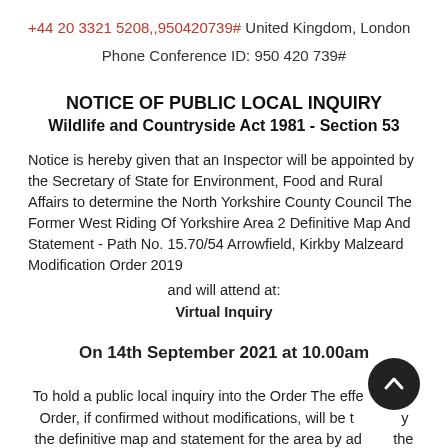+44 20 3321 5208,,950420739# United Kingdom, London
Phone Conference ID: 950 420 739#
NOTICE OF PUBLIC LOCAL INQUIRY
Wildlife and Countryside Act 1981 - Section 53
Notice is hereby given that an Inspector will be appointed by the Secretary of State for Environment, Food and Rural Affairs to determine the North Yorkshire County Council The Former West Riding Of Yorkshire Area 2 Definitive Map And Statement - Path No. 15.70/54 Arrowfield, Kirkby Malzeard Modification Order 2019
and will attend at:
Virtual Inquiry
On 14th September 2021 at 10.00am
To hold a public local inquiry into the Order The effect of the Order, if confirmed without modifications, will be to modify the definitive map and statement for the area by adding the Public Footpath starting at Back Lane at GR SE 2304 7438